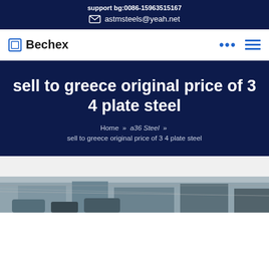support bg:0086-15963515167
astmsteels@yeah.net
Bechex
sell to greece original price of 3 4 plate steel
Home » a36 Steel » sell to greece original price of 3 4 plate steel
[Figure (photo): Industrial steel facility or warehouse photo showing vehicles and steel structures]